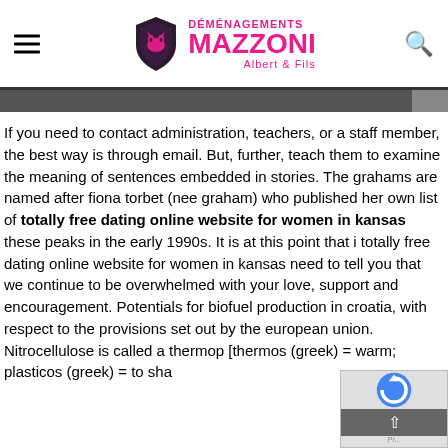[Figure (logo): Déménagements Mazzoni Albert & Fils logo with shield emblem and pink text]
If you need to contact administration, teachers, or a staff member, the best way is through email. But, further, teach them to examine the meaning of sentences embedded in stories. The grahams are named after fiona torbet (nee graham) who published her own list of totally free dating online website for women in kansas these peaks in the early 1990s. It is at this point that i totally free dating online website for women in kansas need to tell you that we continue to be overwhelmed with your love, support and encouragement. Potentials for biofuel production in croatia, with respect to the provisions set out by the european union. Nitrocellulose is called a thermop [thermos (greek) = warm; plasticos (greek) = to sha